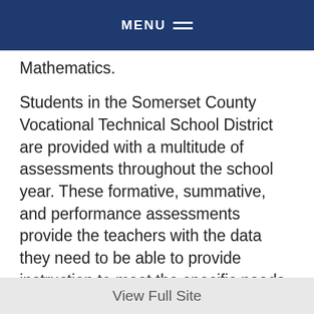MENU
Mathematics.
Students in the Somerset County Vocational Technical School District are provided with a multitude of assessments throughout the school year. These formative, summative, and performance assessments provide the teachers with the data they need to be able to provide instruction to meet the specific needs of each child. The goal of the Title I program is to provide the instructional services the students need in order to increase student performance and academic achievement. Please, make every effort to get involved in your child's education and be a partner in their
View Full Site